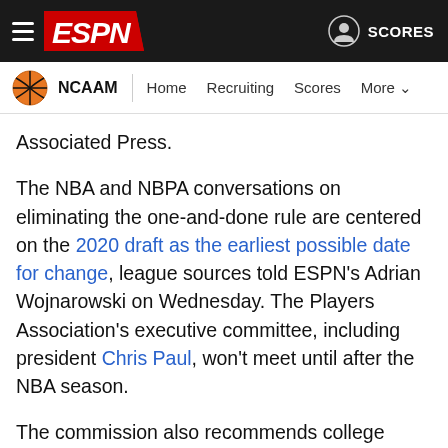ESPN NCAAM | Home | Recruiting | Scores | More
Associated Press.
The NBA and NBPA conversations on eliminating the one-and-done rule are centered on the 2020 draft as the earliest possible date for change, league sources told ESPN's Adrian Wojnarowski on Wednesday. The Players Association's executive committee, including president Chris Paul, won't meet until after the NBA season.
The commission also recommends college players should be able to return to school if they go undrafted, as long as they don't sign a professional contract. As it stands, players can test NBA draft waters without an agent, but must withdraw their name weeks before the draft should they decide to return to school.